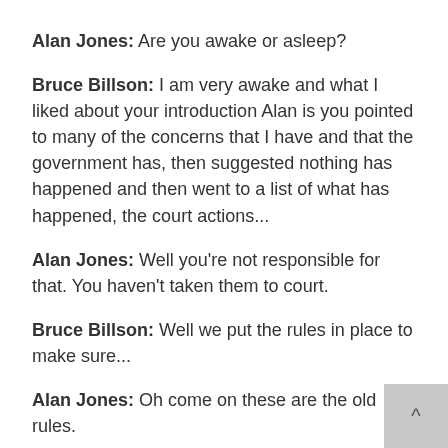Alan Jones: Are you awake or asleep?
Bruce Billson: I am very awake and what I liked about your introduction Alan is you pointed to many of the concerns that I have and that the government has, then suggested nothing has happened and then went to a list of what has happened, the court actions...
Alan Jones: Well you're not responsible for that. You haven't taken them to court.
Bruce Billson: Well we put the rules in place to make sure...
Alan Jones: Oh come on these are the old rules.
Bruce Billson: Correct and the ACCC was running out of money. We put extra funding into the ACCC...